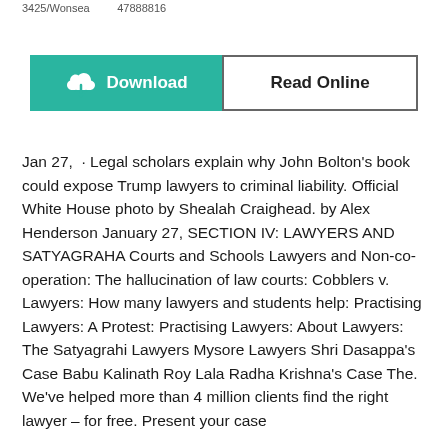3425/Wonsea        47888816
[Figure (other): Two buttons side by side: a teal Download button with a cloud/download icon and a white Read Online button with a border]
Jan 27,  · Legal scholars explain why John Bolton's book could expose Trump lawyers to criminal liability. Official White House photo by Shealah Craighead. by Alex Henderson January 27, SECTION IV: LAWYERS AND SATYAGRAHA Courts and Schools Lawyers and Non-co-operation: The hallucination of law courts: Cobblers v. Lawyers: How many lawyers and students help: Practising Lawyers: A Protest: Practising Lawyers: About Lawyers: The Satyagrahi Lawyers Mysore Lawyers Shri Dasappa's Case Babu Kalinath Roy Lala Radha Krishna's Case The. We've helped more than 4 million clients find the right lawyer – for free. Present your case